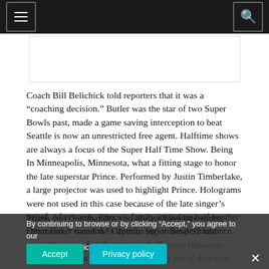Navigation header with menu and search buttons
[Figure (other): Advertisement placeholder box]
Coach Bill Belichick told reporters that it was a “coaching decision.” Butler was the star of two Super Bowls past, made a game saving interception to beat Seattle is now an unrestricted free agent. Halftime shows are always a focus of the Super Half Time Show. Being In Minneapolis, Minnesota, what a fitting stage to honor the late superstar Prince. Performed by Justin Timberlake, a large projector was used to highlight Prince. Holograms were not used in this case because of the late singer’s belief. Afterwards, Prince’s family including half-brother Omar Baker tweeted “a thumbs up” to his performance.
Thank you Commander, you always have interesting comments,” stated the Captain. Super Bowl 52 had something very few for expected offensive fireworks. With both teams being listed in the top ten of defenses,
By continuing to browse or by clicking “Accept,” you agree to our site’s privacy policy.